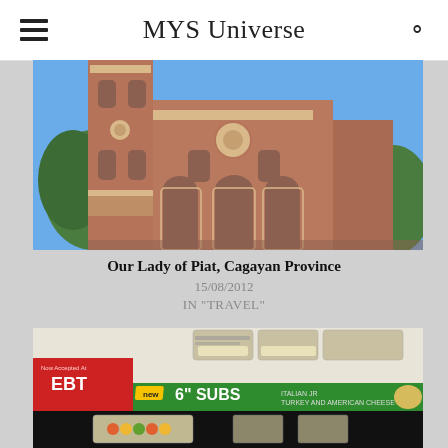MYS Universe
[Figure (photo): Photo of Our Lady of Piat church in Cagayan Province, Philippines. A brick church with a bell tower on the left, arched entrances, and a rose window, set against a blue sky with trees.]
Our Lady of Piat, Cagayan Province
15/08/2012
IN "TRAVEL"
[Figure (photo): Photo of a convenience store display showing food items including an EBT sign (red background), a green banner advertising NEW 6" SUBS Italian Jr Turkey and American Cheese, and packaged food items in trays.]